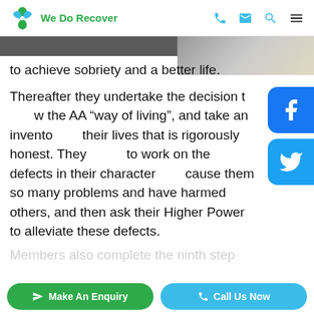We Do Recover
to achieve sobriety and a better life.
Thereafter they undertake the decision to follow the AA "way of living", and take an inventory of their lives that is rigorously honest. They begin to work on the defects in their character that cause them so many problems and have harmed others, and then ask their Higher Power to alleviate these defects.
[Figure (other): Facebook social share button overlay]
[Figure (other): Twitter social share button overlay]
(partial text cut off at bottom)
Make An Enquiry   Call Us Now